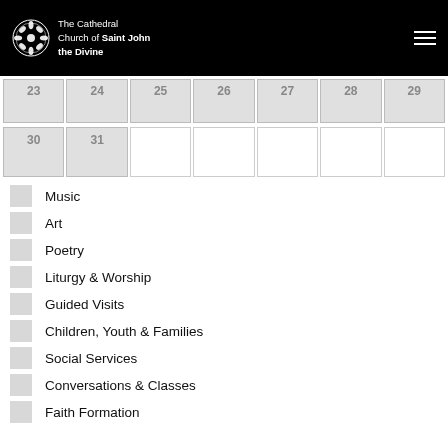The Cathedral Church of Saint John the Divine
| 23 | 24 | 25 | 26 | 27 | 28 | 29 |
| 30 | 31 |  |  |  |  |  |
Music
Art
Poetry
Liturgy & Worship
Guided Visits
Children, Youth & Families
Social Services
Conversations & Classes
Faith Formation